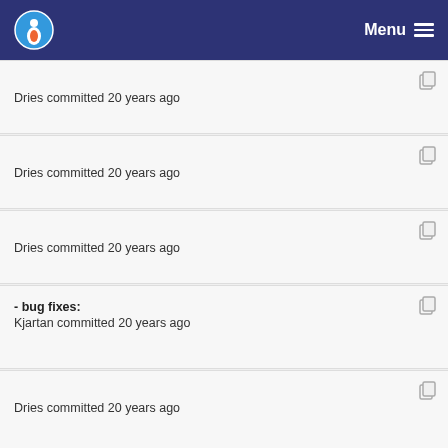Menu
Dries committed 20 years ago
Dries committed 20 years ago
Dries committed 20 years ago
Dries committed 20 years ago
- bug fixes:
Kjartan committed 20 years ago
Dries committed 20 years ago
Dries committed 20 years ago